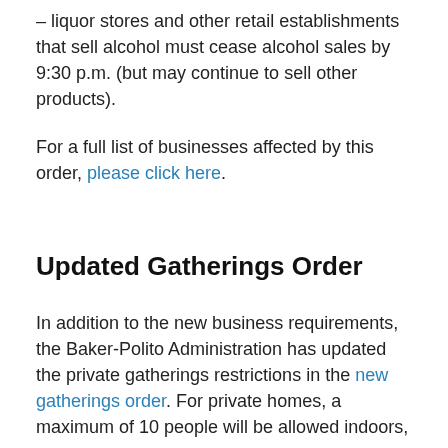– liquor stores and other retail establishments that sell alcohol must cease alcohol sales by 9:30 p.m. (but may continue to sell other products).
For a full list of businesses affected by this order, please click here.
Updated Gatherings Order
In addition to the new business requirements, the Baker-Polito Administration has updated the private gatherings restrictions in the new gatherings order. For private homes, a maximum of 10 people will be allowed indoors,